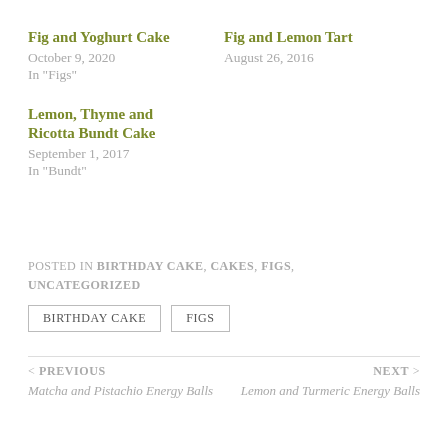Fig and Yoghurt Cake
October 9, 2020
In "Figs"
Fig and Lemon Tart
August 26, 2016
Lemon, Thyme and Ricotta Bundt Cake
September 1, 2017
In "Bundt"
POSTED IN BIRTHDAY CAKE, CAKES, FIGS, UNCATEGORIZED
BIRTHDAY CAKE   FIGS
< PREVIOUS
Matcha and Pistachio Energy Balls
NEXT >
Lemon and Turmeric Energy Balls